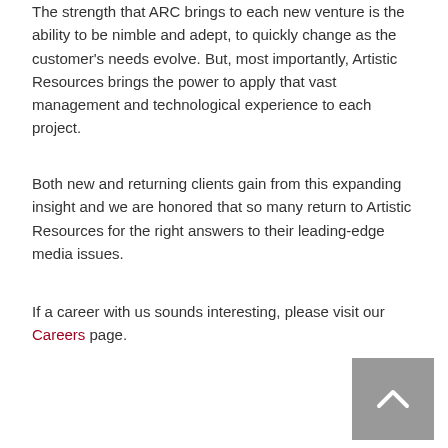The strength that ARC brings to each new venture is the ability to be nimble and adept, to quickly change as the customer's needs evolve. But, most importantly, Artistic Resources brings the power to apply that vast management and technological experience to each project.
Both new and returning clients gain from this expanding insight and we are honored that so many return to Artistic Resources for the right answers to their leading-edge media issues.
If a career with us sounds interesting, please visit our Careers page.
[Figure (other): Grey scroll-to-top button with upward chevron arrow in bottom-right corner]